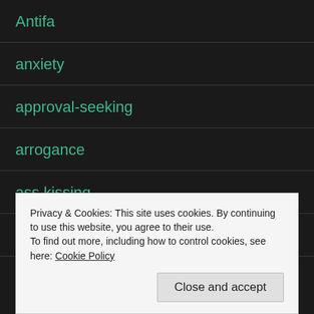Antifa
anxiety
approval-seeking
arrogance
ass kissing
ass-kissers
Privacy & Cookies: This site uses cookies. By continuing to use this website, you agree to their use.
To find out more, including how to control cookies, see here: Cookie Policy
Close and accept